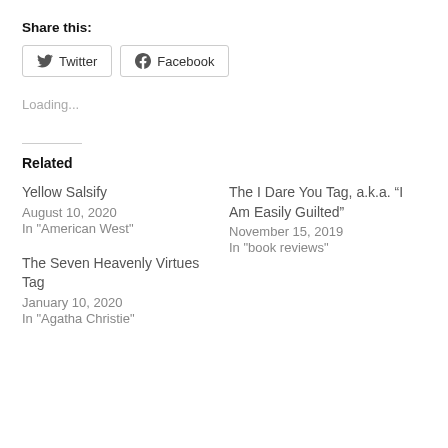Share this:
[Figure (other): Twitter and Facebook share buttons with icons]
Loading...
Related
Yellow Salsify
August 10, 2020
In "American West"
The I Dare You Tag, a.k.a. “I Am Easily Guilted”
November 15, 2019
In "book reviews"
The Seven Heavenly Virtues Tag
January 10, 2020
In "Agatha Christie"